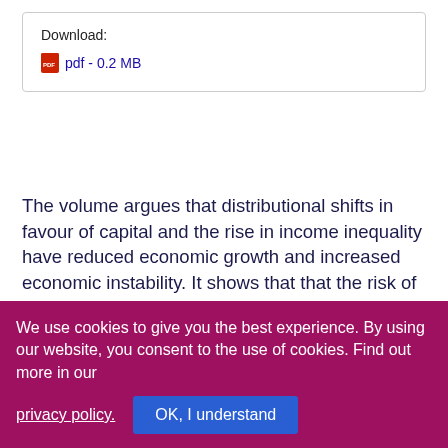Download:
pdf - 0.2 MB
The volume argues that distributional shifts in favour of capital and the rise in income inequality have reduced economic growth and increased economic instability. It shows that that the risk of wage moderation is real and that the debt-led and export-led strategies pursued in many countries are related to these economic problems.
In turn, the book analyses the policy implications and strategies for a wage-led recovery that would alleviate the
We use cookies to give you the best experience. By using our website, you consent to the use of cookies. Find out more in our privacy policy.
OK, I understand